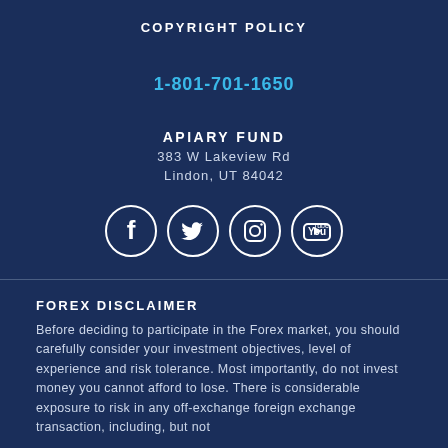COPYRIGHT POLICY
1-801-701-1650
APIARY FUND
383 W Lakeview Rd
Lindon, UT 84042
[Figure (other): Social media icons: Facebook, Twitter, Instagram, YouTube]
FOREX DISCLAIMER
Before deciding to participate in the Forex market, you should carefully consider your investment objectives, level of experience and risk tolerance. Most importantly, do not invest money you cannot afford to lose. There is considerable exposure to risk in any off-exchange foreign exchange transaction, including, but not